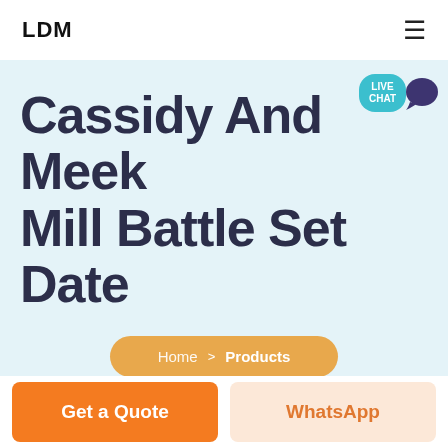LDM
Cassidy And Meek Mill Battle Set Date
Home > Products
Get a Quote
WhatsApp